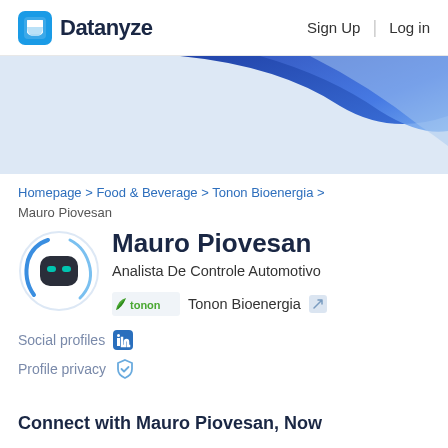Datanyze   Sign Up   Log in
[Figure (illustration): Blue wave/swoosh decorative banner in shades of blue and light blue]
Homepage > Food & Beverage > Tonon Bioenergia > Mauro Piovesan
[Figure (illustration): Robot avatar icon with teal eyes, circular with blue arc border]
Mauro Piovesan
Analista De Controle Automotivo
[Figure (logo): Tonon Bioenergia company logo with green leaf]
Tonon Bioenergia
Social profiles
Profile privacy
Connect with Mauro Piovesan, Now